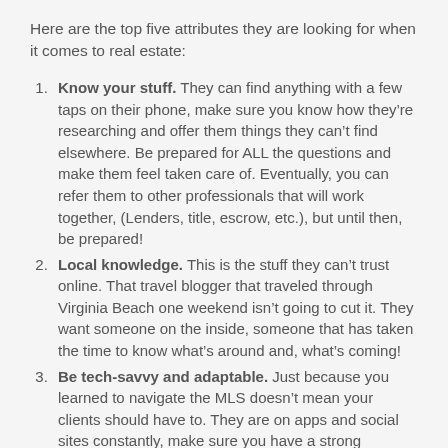Here are the top five attributes they are looking for when it comes to real estate:
Know your stuff. They can find anything with a few taps on their phone, make sure you know how they're researching and offer them things they can't find elsewhere. Be prepared for ALL the questions and make them feel taken care of. Eventually, you can refer them to other professionals that will work together, (Lenders, title, escrow, etc.), but until then, be prepared!
Local knowledge. This is the stuff they can't trust online. That travel blogger that traveled through Virginia Beach one weekend isn't going to cut it. They want someone on the inside, someone that has taken the time to know what's around and, what's coming!
Be tech-savvy and adaptable. Just because you learned to navigate the MLS doesn't mean your clients should have to. They are on apps and social sites constantly, make sure you have a strong presence and offer options for things such as booking appointments and alternative meeting options